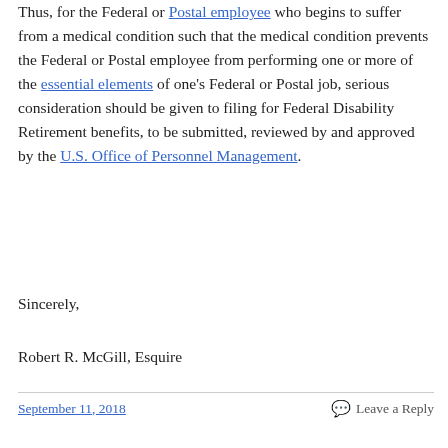Thus, for the Federal or Postal employee who begins to suffer from a medical condition such that the medical condition prevents the Federal or Postal employee from performing one or more of the essential elements of one's Federal or Postal job, serious consideration should be given to filing for Federal Disability Retirement benefits, to be submitted, reviewed by and approved by the U.S. Office of Personnel Management.
Sincerely,
Robert R. McGill, Esquire
September 11, 2018    Leave a Reply